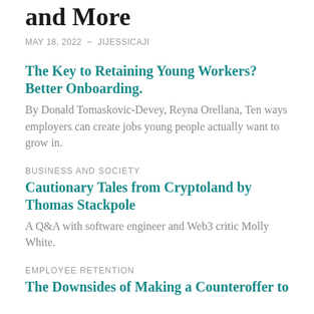and More
MAY 18, 2022  ~  JIJESSICAJI
The Key to Retaining Young Workers? Better Onboarding.
By Donald Tomaskovic-Devey, Reyna Orellana, Ten ways employers can create jobs young people actually want to grow in.
BUSINESS AND SOCIETY
Cautionary Tales from Cryptoland by Thomas Stackpole
A Q&A with software engineer and Web3 critic Molly White.
EMPLOYEE RETENTION
The Downsides of Making a Counteroffer to